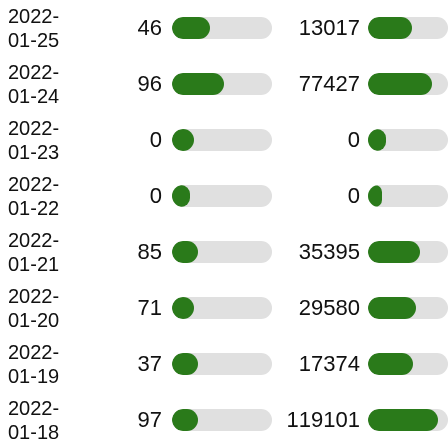| Date | Count | Bar | Large Count | Bar2 |
| --- | --- | --- | --- | --- |
| 2022-01-25 | 46 |  | 13017 |  |
| 2022-01-24 | 96 |  | 77427 |  |
| 2022-01-23 | 0 |  | 0 |  |
| 2022-01-22 | 0 |  | 0 |  |
| 2022-01-21 | 85 |  | 35395 |  |
| 2022-01-20 | 71 |  | 29580 |  |
| 2022-01-19 | 37 |  | 17374 |  |
| 2022-01-18 | 97 |  | 119101 |  |
| 2022- | 0 |  | 0 |  |